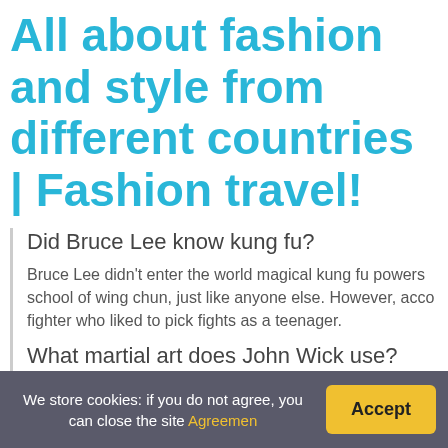All about fashion and style from different countries | Fashion travel!
Did Bruce Lee know kung fu?
Bruce Lee didn't enter the world magical kung fu powers school of wing chun, just like anyone else. However, acco fighter who liked to pick fights as a teenager.
What martial art does John Wick use?
We store cookies: if you do not agree, you can close the site Agreemen